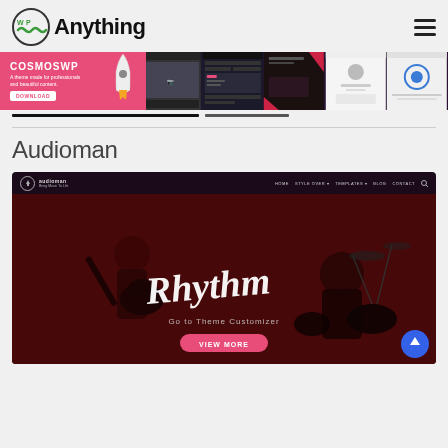[Figure (logo): WP Anything logo with infinity symbol and hamburger menu icon]
[Figure (screenshot): CosmoWP promotional banner with rocket illustration and website screenshots]
[Figure (screenshot): Navigation tab indicators/progress bars]
Audioman
[Figure (screenshot): Audioman WordPress theme screenshot showing dark music-themed website with 'Rhythm' script text, guitarist silhouette, navigation bar with HOME, STYLE OVER, TEMPLATES, BLOG, CONTACT links, and VIEW MORE button]